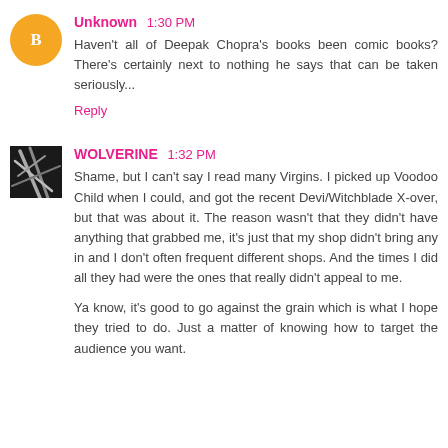Unknown 1:30 PM
Haven't all of Deepak Chopra's books been comic books? There's certainly next to nothing he says that can be taken seriously...
Reply
WOLVERINE 1:32 PM
Shame, but I can't say I read many Virgins. I picked up Voodoo Child when I could, and got the recent Devi/Witchblade X-over, but that was about it. The reason wasn't that they didn't have anything that grabbed me, it's just that my shop didn't bring any in and I don't often frequent different shops. And the times I did all they had were the ones that really didn't appeal to me.
Ya know, it's good to go against the grain which is what I hope they tried to do. Just a matter of knowing how to target the audience you want.